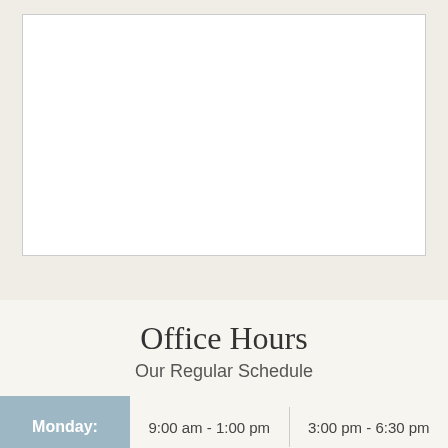[Figure (other): White rectangular box with thin border on a beige background — appears to be a placeholder image or map area]
Office Hours
Our Regular Schedule
| Day | Morning | Afternoon |
| --- | --- | --- |
| Monday: | 9:00 am - 1:00 pm | 3:00 pm - 6:30 pm |